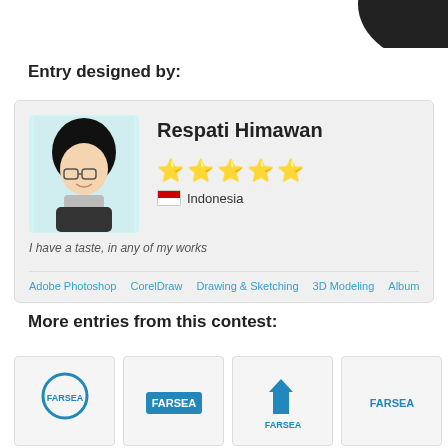[Figure (illustration): Partial dark arc/logo visible at top right corner]
Entry designed by:
[Figure (illustration): Profile card for Respati Himawan with avatar, 5 stars, Indonesia flag, bio text, and skill tags]
More entries from this contest:
[Figure (illustration): Four contest entry thumbnails showing FARSEA logo designs]